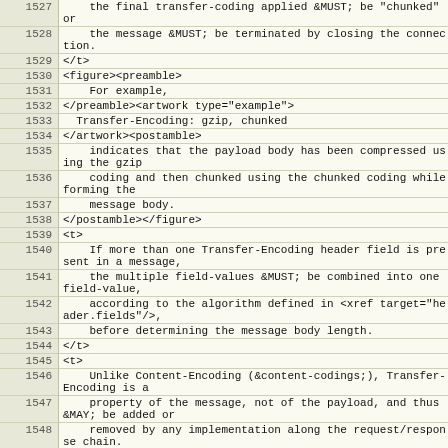| line | code |
| --- | --- |
| 1527 |     the final transfer-coding applied &MUST; be "chunked" or |
| 1528 |     the message &MUST; be terminated by closing the connection. |
| 1529 | </t> |
| 1530 | <figure><preamble> |
| 1531 |     For example, |
| 1532 | </preamble><artwork type="example"> |
| 1533 |   Transfer-Encoding: gzip, chunked |
| 1534 | </artwork><postamble> |
| 1535 |     indicates that the payload body has been compressed using the gzip |
| 1536 |     coding and then chunked using the chunked coding while forming the |
| 1537 |     message body. |
| 1538 | </postamble></figure> |
| 1539 | <t> |
| 1540 |     If more than one Transfer-Encoding header field is present in a message, |
| 1541 |     the multiple field-values &MUST; be combined into one field-value, |
| 1542 |     according to the algorithm defined in <xref target="header.fields"/>, |
| 1543 |     before determining the message body length. |
| 1544 | </t> |
| 1545 | <t> |
| 1546 |     Unlike Content-Encoding (&content-codings;), Transfer-Encoding is a |
| 1547 |     property of the message, not of the payload, and thus &MAY; be added or |
| 1548 |     removed by any implementation along the request/response chain. |
| 1549 |     Additional information about the encoding parameters &MAY; be provided |